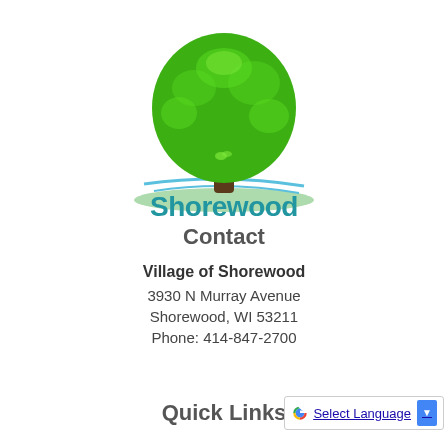[Figure (logo): Shorewood village logo: green tree illustration above blue swoosh lines with 'Shorewood' text in blue below]
Contact
Village of Shorewood
3930 N Murray Avenue
Shorewood, WI 53211
Phone: 414-847-2700
Quick Links
Select Language